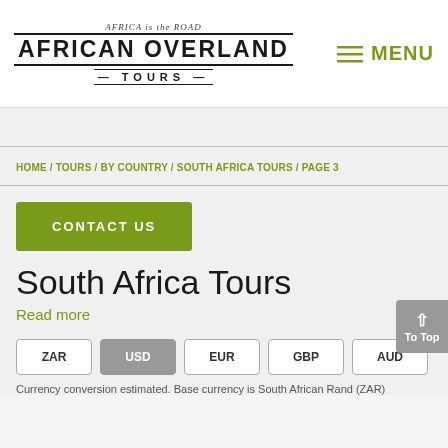[Figure (logo): African Overland Tours logo with tagline 'Africa is the Road']
MENU
HOME / TOURS / BY COUNTRY / SOUTH AFRICA TOURS / PAGE 3
CONTACT US
South Africa Tours
Read more
ZAR  USD  EUR  GBP  AUD
Currency conversion estimated. Base currency is South African Rand (ZAR)